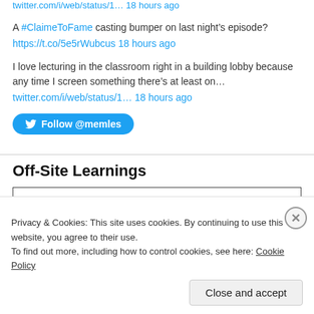twitter.com/i/web/status/1… 18 hours ago (top truncated link)
A #ClaimeToFame casting bumper on last night's episode? https://t.co/5e5rWubcus 18 hours ago
I love lecturing in the classroom right in a building lobby because any time I screen something there's at least on… twitter.com/i/web/status/1… 18 hours ago
Follow @memles
Off-Site Learnings
Privacy & Cookies: This site uses cookies. By continuing to use this website, you agree to their use. To find out more, including how to control cookies, see here: Cookie Policy
Close and accept